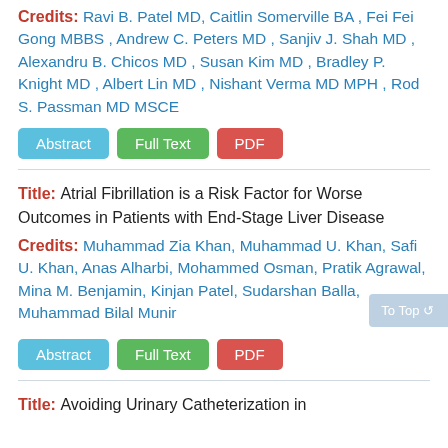Credits: Ravi B. Patel MD, Caitlin Somerville BA, Fei Fei Gong MBBS, Andrew C. Peters MD, Sanjiv J. Shah MD, Alexandru B. Chicos MD, Susan Kim MD, Bradley P. Knight MD, Albert Lin MD, Nishant Verma MD MPH, Rod S. Passman MD MSCE
Abstract | Full Text | PDF
Title: Atrial Fibrillation is a Risk Factor for Worse Outcomes in Patients with End-Stage Liver Disease
Credits: Muhammad Zia Khan, Muhammad U. Khan, Safi U. Khan, Anas Alharbi, Mohammed Osman, Pratik Agrawal, Mina M. Benjamin, Kinjan Patel, Sudarshan Balla, Muhammad Bilal Munir
Abstract | Full Text | PDF
Title: Avoiding Urinary Catheterization in